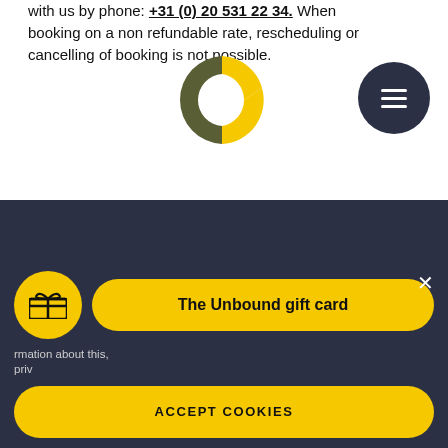with us by phone: +31 (0) 20 531 22 34. When booking on a non refundable rate, rescheduling or cancelling of booking is not possible.
[Figure (logo): Circular logo with yellow and olive/dark green segments on white background]
[Figure (illustration): Dark circular menu button with three horizontal white lines]
CABINS & SUITES
MEETINGS & EVENTS
CONTACT
FAQ
OUR STORY
[Figure (logo): Decorative abstract logo with circle, yellow half-circle, squares and B letter mark in white/yellow on dark background]
The Unbound gift card
rmation about this, priv...
ACCEPT COOKIES